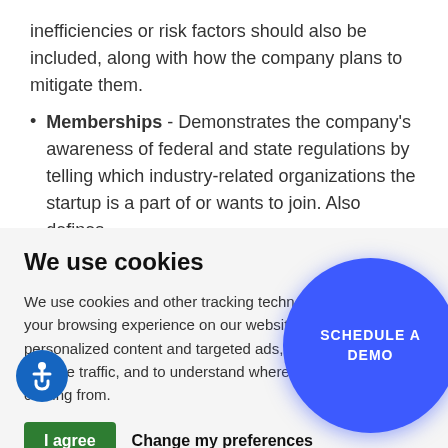inefficiencies or risk factors should also be included, along with how the company plans to mitigate them.
Memberships - Demonstrates the company's awareness of federal and state regulations by telling which industry-related organizations the startup is a part of or wants to join. Also defines
We use cookies
We use cookies and other tracking technologies to improve your browsing experience on our website, to show you personalized content and targeted ads, to analyze our website traffic, and to understand where our visitors are coming from.
[Figure (other): Blue circular button with text SCHEDULE A DEMO]
[Figure (other): Accessibility wheelchair icon in blue circle]
I agree   Change my preferences